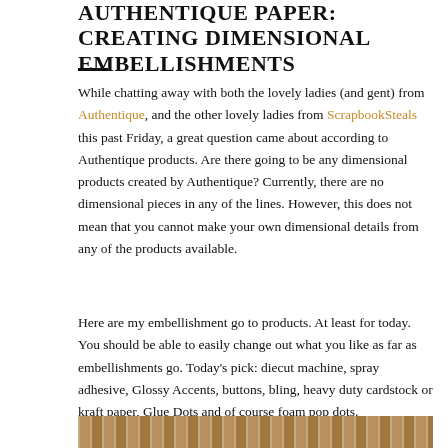AUTHENTIQUE PAPER: CREATING DIMENSIONAL EMBELLISHMENTS
While chatting away with both the lovely ladies (and gent) from Authentique, and the other lovely ladies from ScrapbookSteals this past Friday, a great question came about according to Authentique products. Are there going to be any dimensional products created by Authentique? Currently, there are no dimensional pieces in any of the lines. However, this does not mean that you cannot make your own dimensional details from any of the products available.
Here are my embellishment go to products. At least for today. You should be able to easily change out what you like as far as embellishments go. Today's pick: diecut machine, spray adhesive, Glossy Accents, buttons, bling, heavy duty cardstock or kraft paper, Glue Dots and of course foam pop dots.
[Figure (photo): Partial view of a scrapbook paper or cardstock strip at the bottom of the page, showing a wooden or kraft-textured pattern]